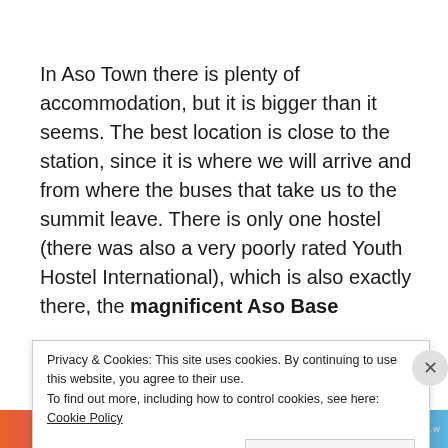In Aso Town there is plenty of accommodation, but it is bigger than it seems. The best location is close to the station, since it is where we will arrive and from where the buses that take us to the summit leave. There is only one hostel (there was also a very poorly rated Youth Hostel International), which is also exactly there, the magnificent Aso Base
Privacy & Cookies: This site uses cookies. By continuing to use this website, you agree to their use. To find out more, including how to control cookies, see here: Cookie Policy
Close and accept
[Figure (photo): Colorful banner image at the bottom of the page with orange, pink, purple, and blue tones]